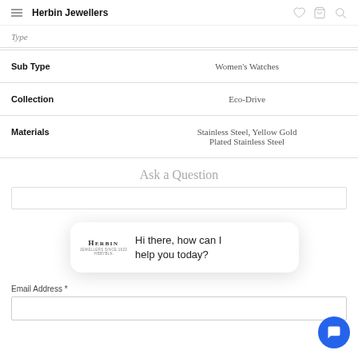Herbin Jewellers
| Attribute | Value |
| --- | --- |
| Sub Type | Women's Watches |
| Collection | Eco-Drive |
| Materials | Stainless Steel, Yellow Gold Plated Stainless Steel |
Ask a Question
[Figure (screenshot): Chat widget popup showing Herbin Jewellers logo and message: Hi there, how can I help you today?]
Email Address *